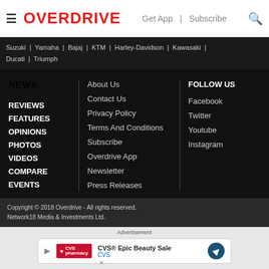OVERDRIVE | Get App | Subscribe
Suzuki | Yamaha | Bajaj | KTM | Harley-Davidson | Kawasaki | Ducati | Triumph
NEWS
REVIEWS
FEATURES
OPINIONS
PHOTOS
VIDEOS
COMPARE
EVENTS
About Us
Contact Us
Privacy Policy
Terms And Conditions
Subscribe
Overdrive App
Newsletter
Press Releases
FOLLOW US
Facebook
Twitter
Youtube
Instagram
Copyright © 2018 Overdrive - All rights reserved. Network18 Media & Investments Ltd.
[Figure (other): Advertisement banner: CVS Epic Beauty Sale - CVS pharmacy logo with heart icon, navigation arrow icon on right]